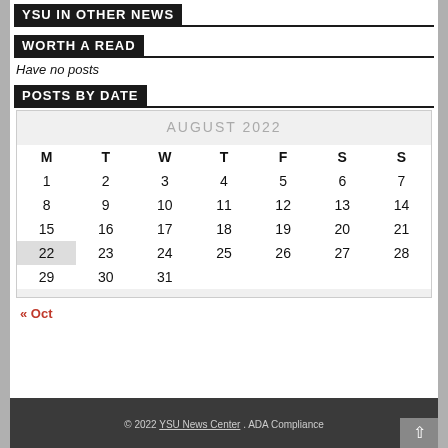YSU IN OTHER NEWS
WORTH A READ
Have no posts
POSTS BY DATE
| M | T | W | T | F | S | S |
| --- | --- | --- | --- | --- | --- | --- |
| 1 | 2 | 3 | 4 | 5 | 6 | 7 |
| 8 | 9 | 10 | 11 | 12 | 13 | 14 |
| 15 | 16 | 17 | 18 | 19 | 20 | 21 |
| 22 | 23 | 24 | 25 | 26 | 27 | 28 |
| 29 | 30 | 31 |  |  |  |  |
« Oct
© 2022 YSU News Center . ADA Compliance